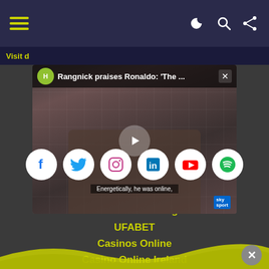Navigation bar with hamburger menu and icons
Visit d...
[Figure (screenshot): Video player showing Rangnick praises Ronaldo: 'The...' with subtitle 'Energetically, he was online,']
[Figure (infographic): Social media icons: Facebook, Twitter, Instagram, LinkedIn, YouTube, Spotify]
Football Results
US Online Betting
UFABET
Casinos Online
Casino Online Ireland